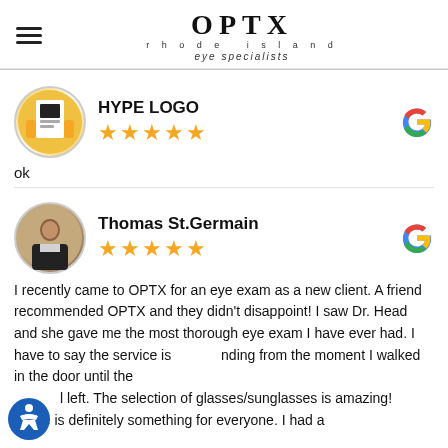OPTX rhode island eye specialists
HYPE LOGO — 5 stars (Google review)
ok
Thomas St.Germain — 5 stars (Google review)
I recently came to OPTX for an eye exam as a new client. A friend recommended OPTX and they didn't disappoint! I saw Dr. Head and she gave me the most thorough eye exam I have ever had. I have to say the service is outstanding from the moment I walked in the door until the I left. The selection of glasses/sunglasses is amazing! There is definitely something for everyone. I had a